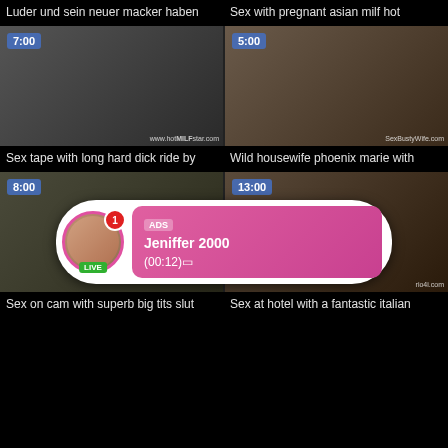Luder und sein neuer macker haben
Sex with pregnant asian milf hot
[Figure (photo): Video thumbnail with duration 7:00, watermark www.hotMILFstar.com]
[Figure (photo): Video thumbnail with duration 5:00, watermark SexBustyWife.com]
Sex tape with long hard dick ride by
Wild housewife phoenix marie with
[Figure (photo): Video thumbnail with duration 8:00]
[Figure (photo): Video thumbnail with duration 13:00, watermark rio4i.com]
[Figure (infographic): Ad overlay: avatar with LIVE badge, notification count 1, ADS label, Jeniffer 2000, (00:12)]
Sex on cam with superb big tits slut
Sex at hotel with a fantastic italian